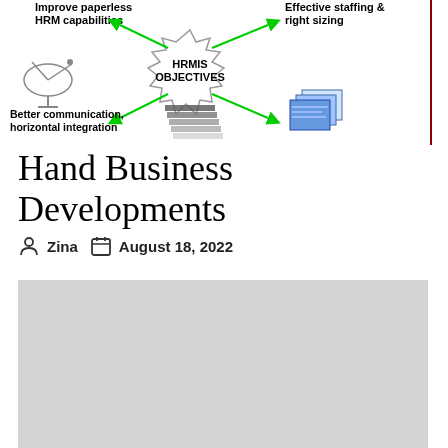[Figure (infographic): HRMIS Objectives infographic showing a starburst center labeled 'HRMIS OBJECTIVES' with green arrows pointing to four surrounding items: 'Improve paperless HRM capabilities' (top-left, with satellite dish icon), 'Effective staffing & right sizing' (top-right, with computer/documents icon), 'Better communication, horizontal integration' (bottom-left), and a stacked documents/files icon (bottom-center).]
Hand Business Developments
Zina   August 18, 2022
[Figure (other): Gray placeholder rectangle representing an embedded image or video.]